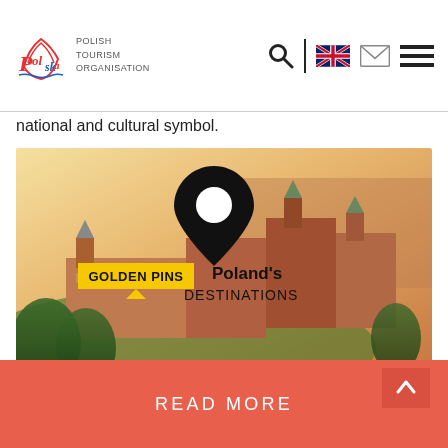Polish Tourism Organisation
national and cultural symbol.
[Figure (photo): Aerial promotional image for 'Golden Pins Poland's Destinations' showing Wawel Castle in Kraków, Poland, with a large map pin icon overlay and text reading 'GOLDEN PINS Poland's DESTINATIONS' on a warm sunset-lit background.]
READ MORE